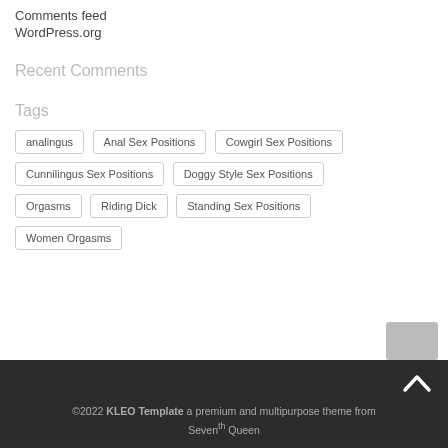Comments feed
WordPress.org
Recent Comments
Tags
analingus
Anal Sex Positions
Cowgirl Sex Positions
Cunnilingus Sex Positions
Doggy Style Sex Positions
Orgasms
Riding Dick
Standing Sex Positions
Women Orgasms
©2022 KLEO Template a premium and multipurpose theme from Seventh Queen